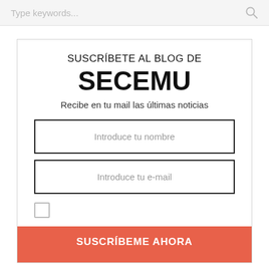[Figure (screenshot): Search bar with placeholder text 'Type keywords...' and a search icon on the right, on a light grey background.]
SUSCRÍBETE AL BLOG DE SECEMU
Recibe en tu mail las últimas noticias
[Figure (screenshot): Form field with placeholder text 'Introduce tu nombre']
[Figure (screenshot): Form field with placeholder text 'Introduce tu e-mail']
[Figure (screenshot): Checkbox (unchecked)]
[Figure (screenshot): Orange button with text 'SUSCRÍBEME AHORA' partially visible at bottom]